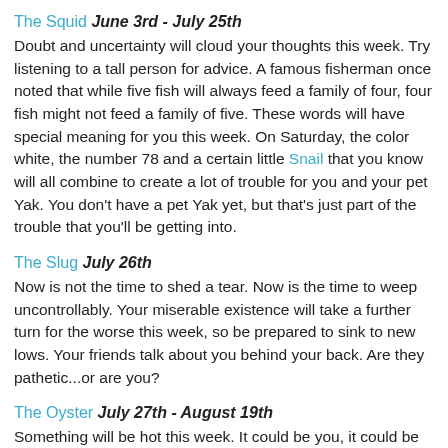The Squid June 3rd - July 25th
Doubt and uncertainty will cloud your thoughts this week. Try listening to a tall person for advice. A famous fisherman once noted that while five fish will always feed a family of four, four fish might not feed a family of five. These words will have special meaning for you this week. On Saturday, the color white, the number 78 and a certain little Snail that you know will all combine to create a lot of trouble for you and your pet Yak. You don't have a pet Yak yet, but that's just part of the trouble that you'll be getting into.
The Slug July 26th
Now is not the time to shed a tear. Now is the time to weep uncontrollably. Your miserable existence will take a further turn for the worse this week, so be prepared to sink to new lows. Your friends talk about you behind your back. Are they pathetic...or are you?
The Oyster July 27th - August 19th
Something will be hot this week. It could be you, it could be the weather, or it could be some mustard. The heat will be good, just remember to stay cool. Remember the saying: you